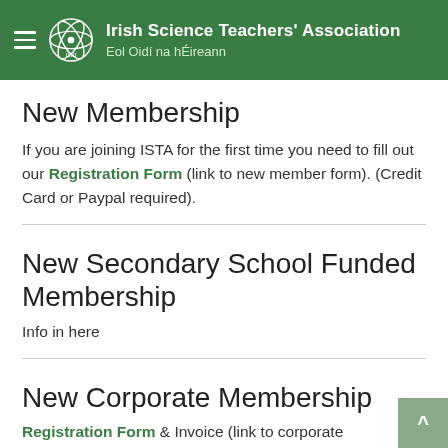Irish Science Teachers' Association | Eol Oidí na hÉireann
New Membership
If you are joining ISTA for the first time you need to fill out our Registration Form (link to new member form). (Credit Card or Paypal required).
New Secondary School Funded Membership
Info in here
New Corporate Membership
Registration Form & Invoice (link to corporate